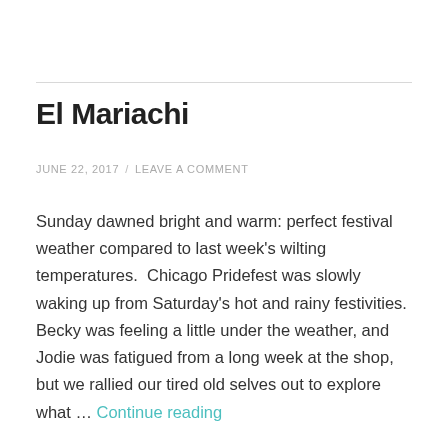El Mariachi
JUNE 22, 2017  /  LEAVE A COMMENT
Sunday dawned bright and warm: perfect festival weather compared to last week's wilting temperatures. Chicago Pridefest was slowly waking up from Saturday's hot and rainy festivities. Becky was feeling a little under the weather, and Jodie was fatigued from a long week at the shop, but we rallied our tired old selves out to explore what … Continue reading